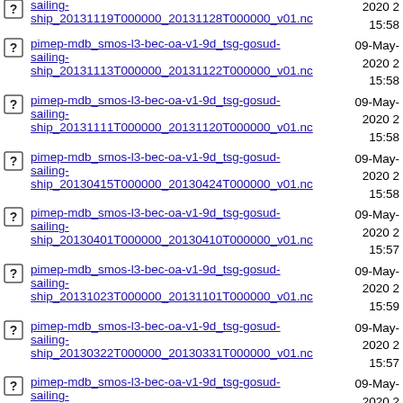pimep-mdb_smos-l3-bec-oa-v1-9d_tsg-gosud-sailing-ship_20131119T000000_20131128T000000_v01.nc
pimep-mdb_smos-l3-bec-oa-v1-9d_tsg-gosud-sailing-ship_20131113T000000_20131122T000000_v01.nc
pimep-mdb_smos-l3-bec-oa-v1-9d_tsg-gosud-sailing-ship_20131111T000000_20131120T000000_v01.nc
pimep-mdb_smos-l3-bec-oa-v1-9d_tsg-gosud-sailing-ship_20130415T000000_20130424T000000_v01.nc
pimep-mdb_smos-l3-bec-oa-v1-9d_tsg-gosud-sailing-ship_20130401T000000_20130410T000000_v01.nc
pimep-mdb_smos-l3-bec-oa-v1-9d_tsg-gosud-sailing-ship_20131023T000000_20131101T000000_v01.nc
pimep-mdb_smos-l3-bec-oa-v1-9d_tsg-gosud-sailing-ship_20130322T000000_20130331T000000_v01.nc
pimep-mdb_smos-l3-bec-oa-v1-9d_tsg-gosud-sailing-ship_20130331T000000_20130409T000000_v01.nc